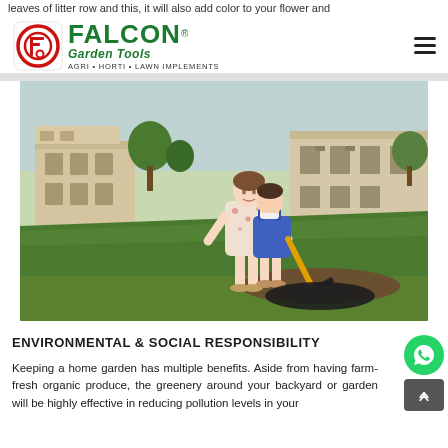leaves of litter row and this, it will also add color to your flower and
FALCON Garden Tools — AGRI • HORTI • LAWN IMPLEMENTS
[Figure (photo): Woman and young girl raking leaves on a lawn in front of a large residential building, using a yellow-handled garden rake.]
ENVIRONMENTAL & SOCIAL RESPONSIBILITY
Keeping a home garden has multiple benefits. Aside from having farm-fresh organic produce, the greenery around your backyard or garden will be highly effective in reducing pollution levels in your